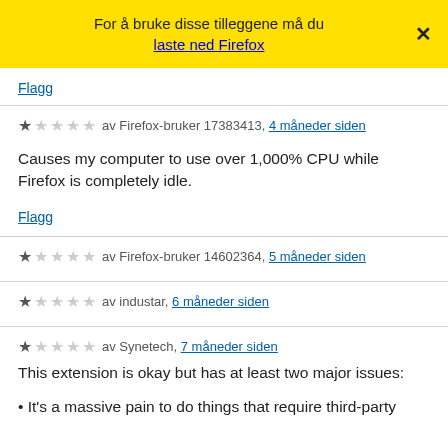For å bruke disse tilleggene må du laste ned Firefox ×
Flagg
av Firefox-bruker 17383413, 4 måneder siden
Causes my computer to use over 1,000% CPU while Firefox is completely idle.
Flagg
av Firefox-bruker 14602364, 5 måneder siden
av industar, 6 måneder siden
av Synetech, 7 måneder siden
This extension is okay but has at least two major issues:
It's a massive pain to do things that require third-party